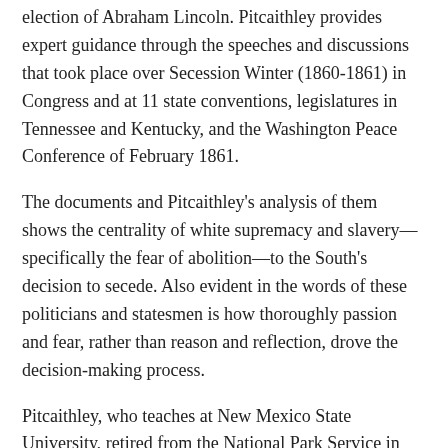election of Abraham Lincoln. Pitcaithley provides expert guidance through the speeches and discussions that took place over Secession Winter (1860-1861) in Congress and at 11 state conventions, legislatures in Tennessee and Kentucky, and the Washington Peace Conference of February 1861.
The documents and Pitcaithley's analysis of them shows the centrality of white supremacy and slavery—specifically the fear of abolition—to the South's decision to secede. Also evident in the words of these politicians and statesmen is how thoroughly passion and fear, rather than reason and reflection, drove the decision-making process.
Pitcaithley, who teaches at New Mexico State University, retired from the National Park Service in June 2005 after serving as chief historian for 10 years. During his 30-year career with the NPS, he served in Boston, Santa Fe, New Mexico, and Washington, D.C.,